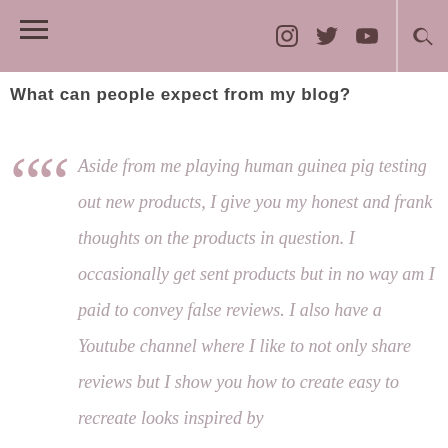Navigation bar with hamburger menu, social icons (Instagram, Twitter, YouTube), and search icon
What can people expect from my blog?
Aside from me playing human guinea pig testing out new products, I give you my honest and frank thoughts on the products in question. I occasionally get sent products but in no way am I paid to convey false reviews. I also have a Youtube channel where I like to not only share reviews but I show you how to create easy to recreate looks inspired by